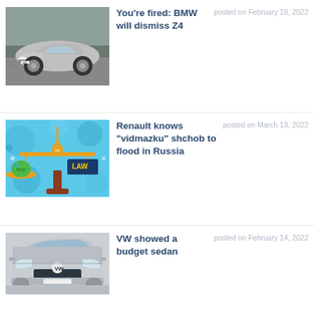[Figure (photo): BMW Z4 silver sports car driving on a road]
You’re fired: BMW will dismiss Z4
posted on February 18, 2022
[Figure (illustration): Illustration of a balance scale with law books and money, blue background]
Renault knows “vidmazku” shchob to flood in Russia
posted on March 13, 2022
[Figure (photo): VW silver sedan front view]
VW showed a budget sedan
posted on February 14, 2022